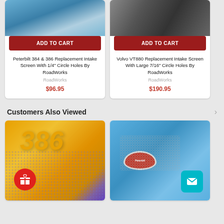[Figure (photo): Two product cards showing truck intake screens. Left card: Peterbilt truck chrome detail photo, ADD TO CART button, product title, brand RoadWorks, price $96.95. Right card: Volvo truck front grille/headlight photo, ADD TO CART button, product title, brand RoadWorks, price $190.95.]
Customers Also Viewed
[Figure (photo): Two product thumbnail photos at bottom. Left: Yellow truck with '386' number and mesh screen, red gift icon badge. Right: Blue Peterbilt truck with chrome mesh grille and Peterbilt oval badge, teal mail icon badge.]